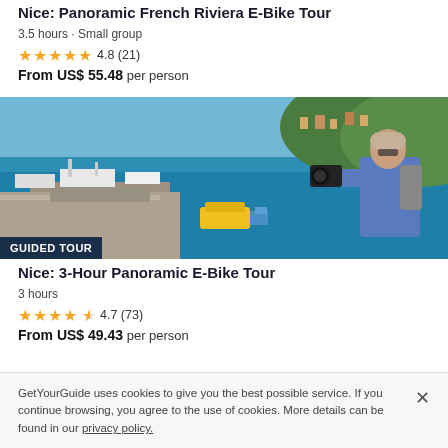Nice: Panoramic French Riviera E-Bike Tour
3.5 hours • Small group
★★★★★ 4.8 (21)
From US$ 55.48 per person
[Figure (photo): Aerial view of Nice harbor with boats and a man photographing with a camera. Badge reads GUIDED TOUR.]
Nice: 3-Hour Panoramic E-Bike Tour
3 hours
★★★★½ 4.7 (73)
From US$ 49.43 per person
GetYourGuide uses cookies to give you the best possible service. If you continue browsing, you agree to the use of cookies. More details can be found in our privacy policy.